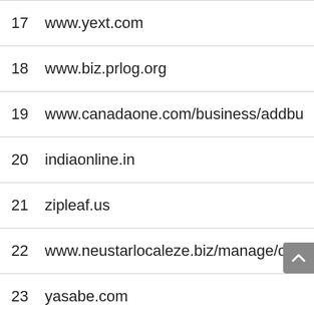17  www.yext.com
18  www.biz.prlog.org
19  www.canadaone.com/business/addbusiness.htm
20  indiaonline.in
21  zipleaf.us
22  www.neustarlocaleze.biz/manage/cart/add
23  yasabe.com
24  www.in.uk.com
25  www.clickedindia.net